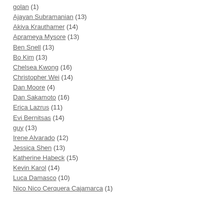golan (1)
Ajayan Subramanian (13)
Akiva Krauthamer (14)
Aprameya Mysore (13)
Ben Snell (13)
Bo Kim (13)
Chelsea Kwong (16)
Christopher Wei (14)
Dan Moore (4)
Dan Sakamoto (16)
Erica Lazrus (11)
Evi Bernitsas (14)
guy (13)
Irene Alvarado (12)
Jessica Shen (13)
Katherine Habeck (15)
Kevin Karol (14)
Luca Damasco (10)
Nico Nico Cerquera Cajamarca (1)